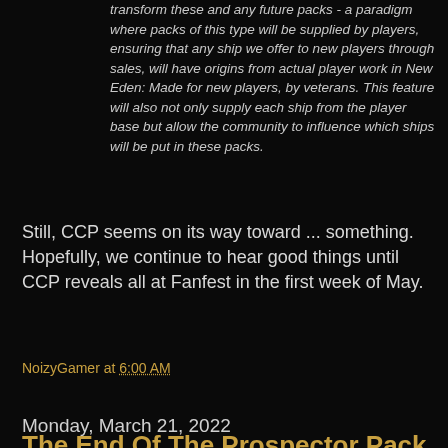transform these and any future packs - a paradigm where packs of this type will be supplied by players, ensuring that any ship we offer to new players through sales, will have origins from actual player work in New Eden: Made for new players, by veterans. This feature will also not only supply each ship from the player base but allow the community to influence which ships will be put in these packs.
Still, CCP seems on its way toward ... something. Hopefully, we continue to hear good things until CCP reveals all at Fanfest in the first week of May.
NoizyGamer at 6:00 AM
Share
Monday, March 21, 2022
The End Of The Prospector Pack ...Almost